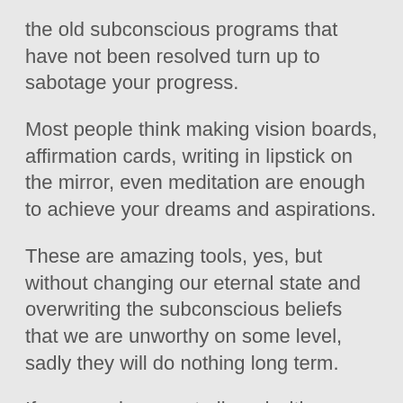the old subconscious programs that have not been resolved turn up to sabotage your progress.
Most people think making vision boards, affirmation cards, writing in lipstick on the mirror, even meditation are enough to achieve your dreams and aspirations.
These are amazing tools, yes, but without changing our eternal state and overwriting the subconscious beliefs that we are unworthy on some level, sadly they will do nothing long term.
If your goals are not aligned with your personal value systems, then they are nothing but fantasies and perpetuate